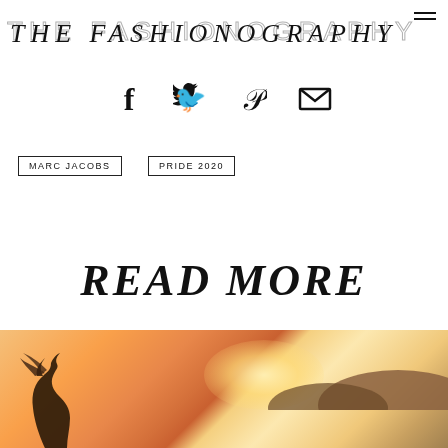THE FASHIONOGRAPHY
[Figure (infographic): Social sharing icons: Facebook (f), Twitter (bird), Pinterest (P), Email (envelope)]
MARC JACOBS
PRIDE 2020
READ MORE
[Figure (photo): Sunset photo showing a silhouette of a person with flowing hair against an orange and pink sunset sky, with hills in the background]